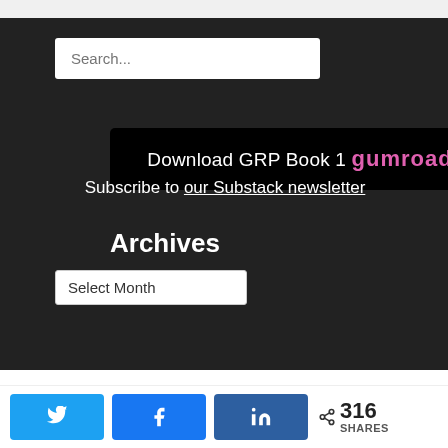[Figure (screenshot): Search input box with placeholder text 'Search...' on dark background]
[Figure (screenshot): Black banner reading 'Download GRP Book 1 Gumroad' with pink Gumroad branding]
Subscribe to our Substack newsletter
Archives
[Figure (screenshot): Dropdown selector labeled 'Select Month']
Privacy & Cookies: This site uses cookies. By continuing to use this website, you agree to their use. To find out more, including how to control cookies, see here: Cookie Policy
316 SHARES (Twitter, Facebook, LinkedIn share buttons)